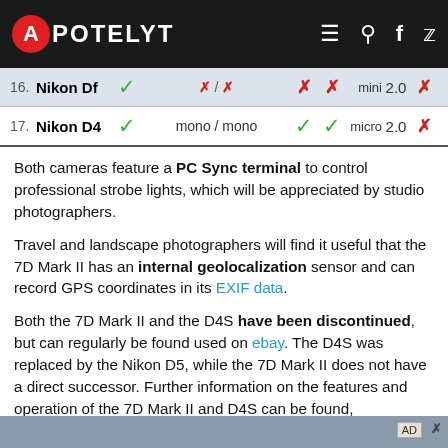APOTELYT
| # | Name | PC Sync | Mic/Headphone | GPS | Bluetooth | USB type | USB ver | Wifi |
| --- | --- | --- | --- | --- | --- | --- | --- | --- |
| 16. | Nikon Df | ✓ | ✗ / ✗ | ✗ | ✗ | mini | 2.0 | ✗ |
| 17. | Nikon D4 | ✓ | mono / mono | ✓ | ✓ | micro | 2.0 | ✗ |
Both cameras feature a PC Sync terminal to control professional strobe lights, which will be appreciated by studio photographers.
Travel and landscape photographers will find it useful that the 7D Mark II has an internal geolocalization sensor and can record GPS coordinates in its EXIF data.
Both the 7D Mark II and the D4S have been discontinued, but can regularly be found used on ebay. The D4S was replaced by the Nikon D5, while the 7D Mark II does not have a direct successor. Further information on the features and operation of the 7D Mark II and D4S can be found, respectively, in the Canon 7D II Manual (free pdf) or the online Nikon D4S Manual.